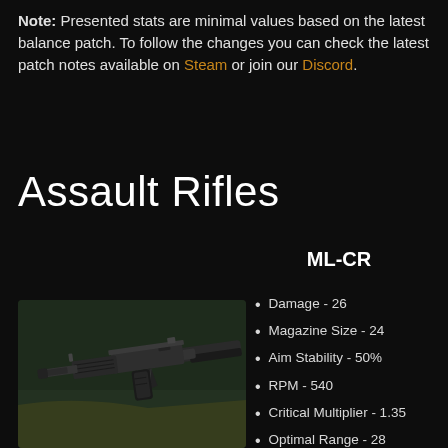Note: Presented stats are minimal values based on the latest balance patch. To follow the changes you can check the latest patch notes available on Steam or join our Discord.
Assault Rifles
ML-CR
[Figure (photo): Photo of an assault rifle (ML-CR) on a dark greenish surface]
Damage - 26
Magazine Size - 24
Aim Stability - 50%
RPM - 540
Critical Multiplier - 1.35
Optimal Range - 28